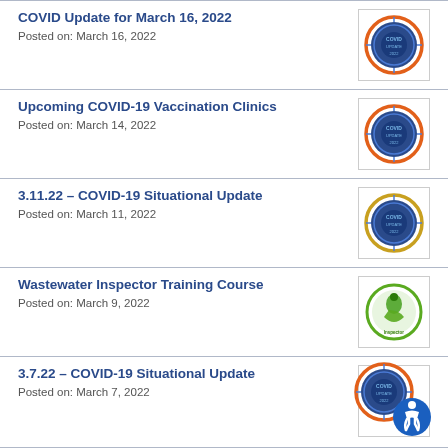COVID Update for March 16, 2022
Posted on: March 16, 2022
[Figure (logo): COVID-19 badge/seal icon with blue circular design and orange border]
Upcoming COVID-19 Vaccination Clinics
Posted on: March 14, 2022
[Figure (logo): COVID-19 badge/seal icon with blue circular design and orange border]
3.11.22 – COVID-19 Situational Update
Posted on: March 11, 2022
[Figure (logo): COVID-19 badge/seal icon with blue circular design and orange/gold border]
Wastewater Inspector Training Course
Posted on: March 9, 2022
[Figure (logo): Green environmental/wastewater inspector training logo]
3.7.22 – COVID-19 Situational Update
Posted on: March 7, 2022
[Figure (logo): COVID-19 badge/seal icon with blue circular design and orange border, with accessibility icon overlay]